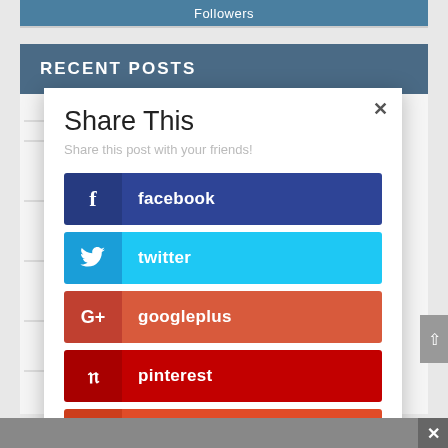Followers
RECENT POSTS
Share This
Share this post with your friends!
facebook
twitter
googleplus
pinterest
reddit